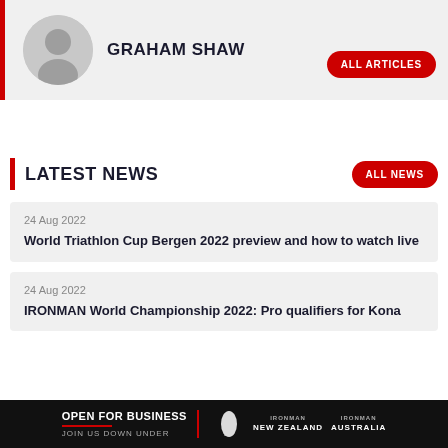GRAHAM SHAW
[Figure (illustration): Circular grey avatar/placeholder silhouette icon]
LATEST NEWS
24 Aug 2022
World Triathlon Cup Bergen 2022 preview and how to watch live
24 Aug 2022
IRONMAN World Championship 2022: Pro qualifiers for Kona
[Figure (infographic): Ad banner: OPEN FOR BUSINESS / JOIN US DOWN UNDER with Ironman New Zealand logos]